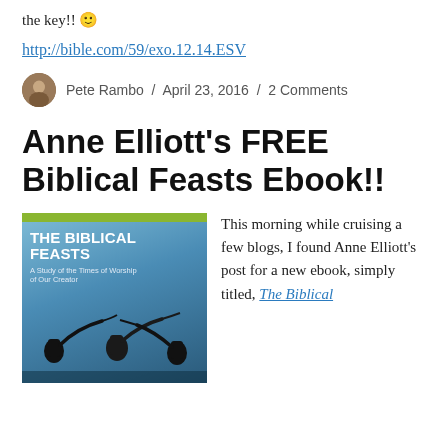the key!! 🙂
http://bible.com/59/exo.12.14.ESV
Pete Rambo / April 23, 2016 / 2 Comments
Anne Elliott's FREE Biblical Feasts Ebook!!
[Figure (photo): Book cover for 'The Biblical Feasts: A Study of the Times of Worship of Our Creator' showing silhouettes of people blowing shofars against a blue sky background with a green top bar.]
This morning while cruising a few blogs, I found Anne Elliott's post for a new ebook, simply titled, The Biblical